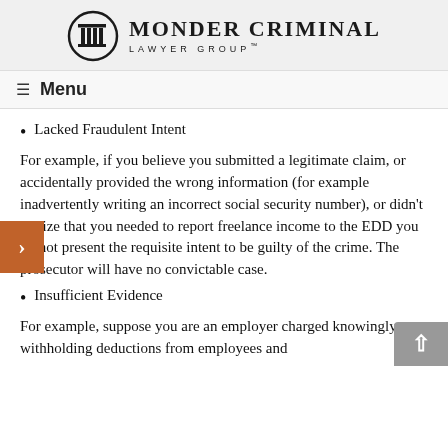MONDER CRIMINAL LAWYER GROUP
Menu
Lacked Fraudulent Intent
For example, if you believe you submitted a legitimate claim, or accidentally provided the wrong information (for example inadvertently writing an incorrect social security number), or didn't realize that you needed to report freelance income to the EDD you do not present the requisite intent to be guilty of the crime. The prosecutor will have no convictable case.
Insufficient Evidence
For example, suppose you are an employer charged knowingly withholding deductions from employees and